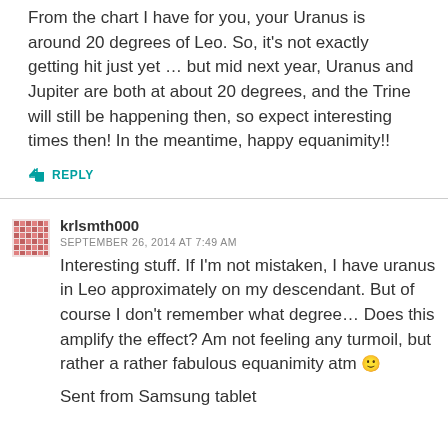From the chart I have for you, your Uranus is around 20 degrees of Leo. So, it's not exactly getting hit just yet … but mid next year, Uranus and Jupiter are both at about 20 degrees, and the Trine will still be happening then, so expect interesting times then! In the meantime, happy equanimity!!
↳ REPLY
krlsmth000
SEPTEMBER 26, 2014 AT 7:49 AM
Interesting stuff. If I'm not mistaken, I have uranus in Leo approximately on my descendant. But of course I don't remember what degree… Does this amplify the effect? Am not feeling any turmoil, but rather a rather fabulous equanimity atm 🙂
Sent from Samsung tablet